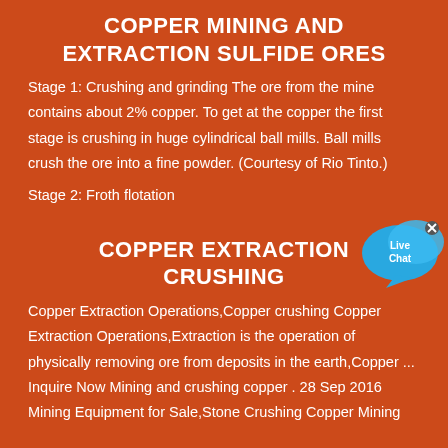COPPER MINING AND EXTRACTION SULFIDE ORES
Stage 1: Crushing and grinding The ore from the mine contains about 2% copper. To get at the copper the first stage is crushing in huge cylindrical ball mills. Ball mills crush the ore into a fine powder. (Courtesy of Rio Tinto.)
Stage 2: Froth flotation
[Figure (other): Live Chat button with speech bubble icon in blue/cyan colors with an 'x' close button]
COPPER EXTRACTION CRUSHING
Copper Extraction Operations,Copper crushing Copper Extraction Operations,Extraction is the operation of physically removing ore from deposits in the earth,Copper ... Inquire Now Mining and crushing copper . 28 Sep 2016 Mining Equipment for Sale,Stone Crushing Copper Mining